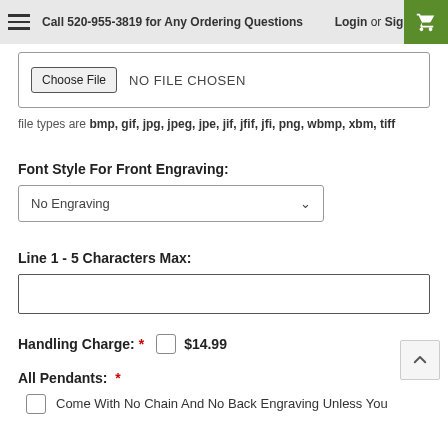Call 520-955-3819 for Any Ordering Questions  Login or Sign Up
[Figure (screenshot): File upload input box with Choose File button and NO FILE CHOSEN text]
file types are bmp, gif, jpg, jpeg, jpe, jif, jfif, jfi, png, wbmp, xbm, tiff
Font Style For Front Engraving:
[Figure (screenshot): Dropdown selector showing No Engraving option with chevron arrow]
Line 1 - 5 Characters Max:
[Figure (screenshot): Empty text input field for line 1 engraving]
Handling Charge:  *  $14.99
All Pendants:  *
Come With No Chain And No Back Engraving Unless You